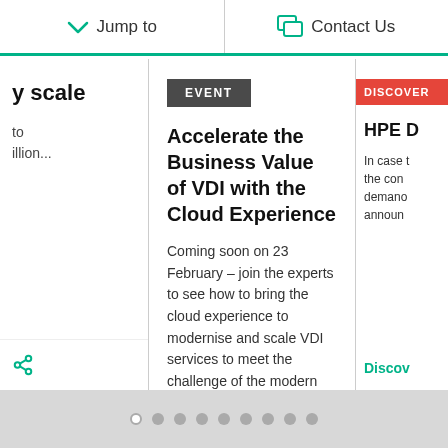Jump to   Contact Us
y scale

to
illion...
EVENT
Accelerate the Business Value of VDI with the Cloud Experience
Coming soon on 23 February – join the experts to see how to bring the cloud experience to modernise and scale VDI services to meet the challenge of the modern digital workplace.
Register now →
DISCOVER
HPE D
In case t the con demano announ
Discov